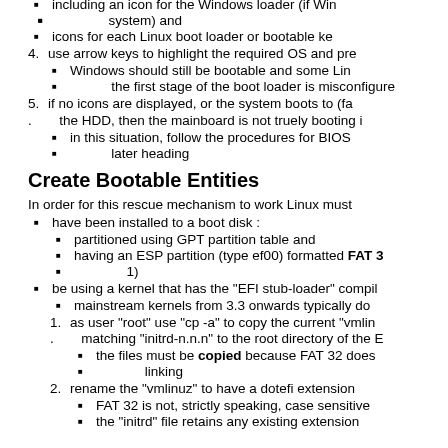including an icon for the Windows loader (if Windows is on the system) and
icons for each Linux boot loader or bootable ke
4. use arrow keys to highlight the required OS and pre
Windows should still be bootable and some Lin the first stage of the boot loader is misconfigure
5. if no icons are displayed, or the system boots to (fa the HDD, then the mainboard is not truely booting i
in this situation, follow the procedures for BIOS later heading
Create Bootable Entities
In order for this rescue mechanism to work Linux must
have been installed to a boot disk :
partitioned using GPT partition table and
having an ESP partition (type ef00) formatted FAT 3 1)
be using a kernel that has the "EFI stub-loader" compil
mainstream kernels from 3.3 onwards typically do
1. as user "root" use "cp -a" to copy the current "vmlin matching "initrd-n.n.n" to the root directory of the E
the files must be copied because FAT 32 does linking
2. rename the "vmlinuz" to have a dotefi extension
FAT 32 is not, strictly speaking, case sensitive
the "initrd" file retains any existing extension